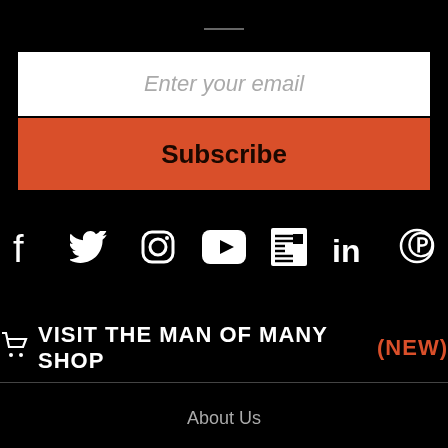[Figure (other): Short horizontal divider line at top center]
Enter your email
Subscribe
[Figure (other): Social media icons row: Facebook, Twitter, Instagram, YouTube, News/RSS, LinkedIn, Pinterest]
🛒 VISIT THE MAN OF MANY SHOP (NEW)
About Us